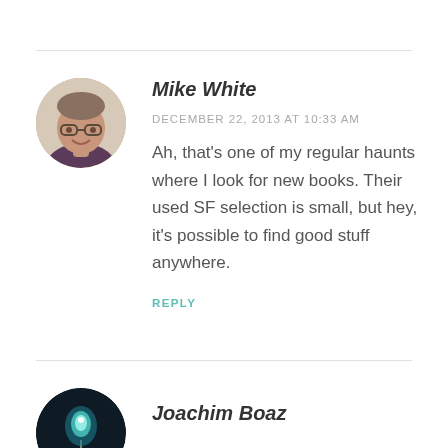[Figure (photo): Circular avatar photo of Mike White, a man with glasses smiling]
Mike White
DECEMBER 22, 2013 AT 10:33 AM
Ah, that’s one of my regular haunts where I look for new books. Their used SF selection is small, but hey, it’s possible to find good stuff anywhere.
REPLY
[Figure (photo): Circular avatar of Joachim Boaz, dark image with a glowing hot air balloon]
Joachim Boaz